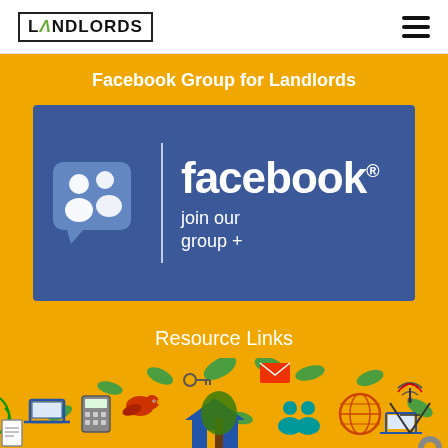[Figure (logo): Landlords logo with house icon in a bordered box]
Facebook Group for Landlords
[Figure (illustration): Facebook group banner with group icon, facebook wordmark, and 'join our group +' text on blue background]
Resource Links
[Figure (illustration): Colorful resource links infographic icons including laptop, bird, globe, people, house, leaf, and other icons on yellow background]